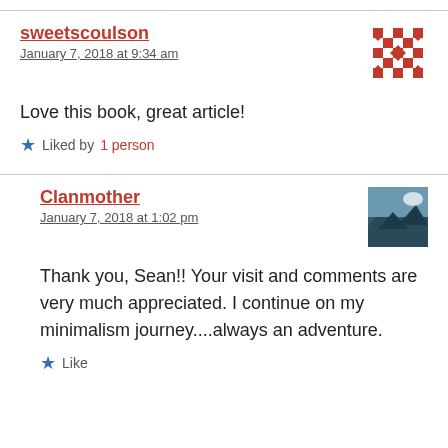sweetscoulson
January 7, 2018 at 9:34 am
Love this book, great article!
Liked by 1 person
Clanmother
January 7, 2018 at 1:02 pm
Thank you, Sean!! Your visit and comments are very much appreciated. I continue on my minimalism journey....always an adventure.
Like